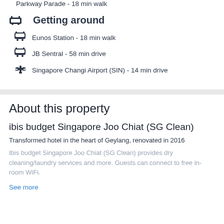Parkway Parade - 18 min walk
Getting around
Eunos Station - 18 min walk
JB Sentral - 58 min drive
Singapore Changi Airport (SIN) - 14 min drive
About this property
ibis budget Singapore Joo Chiat (SG Clean)
Transformed hotel in the heart of Geylang, renovated in 2016
Ibis budget Singapore Joo Chiat (SG Clean) provides dry cleaning/laundry services and more. Guests can connect to free in-room WiFi.
See more